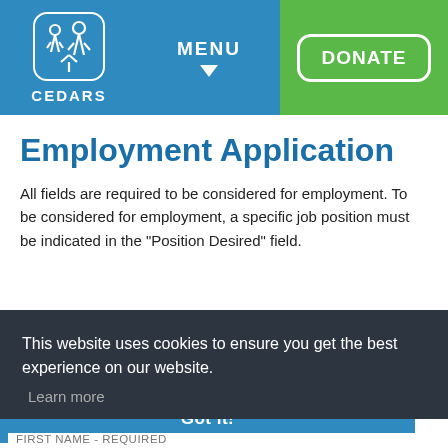[Figure (logo): Cedars organization logo — white figure icon in rounded square, with MENU navigation and DONATE button in header navigation bar]
Employment Application
All fields are required to be considered for employment. To be considered for employment, a specific job position must be indicated in the "Position Desired" field.
This website uses cookies to ensure you get the best experience on our website.
Learn more
Got it!
FIRST NAME - REQUIRED